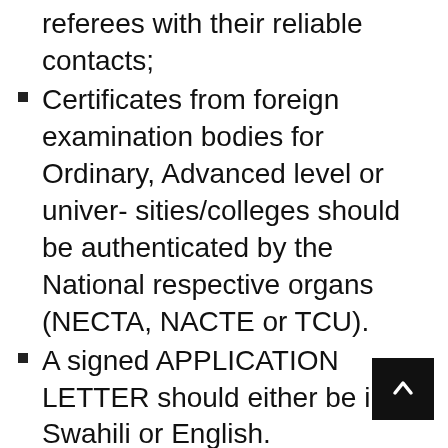referees with their reliable contacts;
Certificates from foreign examination bodies for Ordinary, Advanced level or univer- sities/colleges should be authenticated by the National respective organs (NECTA, NACTE or TCU).
A signed APPLICATION LETTER should either be in Swahili or English.
ANY ELECTRONIC SUBMISSION SHALL NOT BE CONSIDERED
Only short listed candidates will be informed for interview and;
Presentation of forged certificates and other information will render to necessitate legal action;